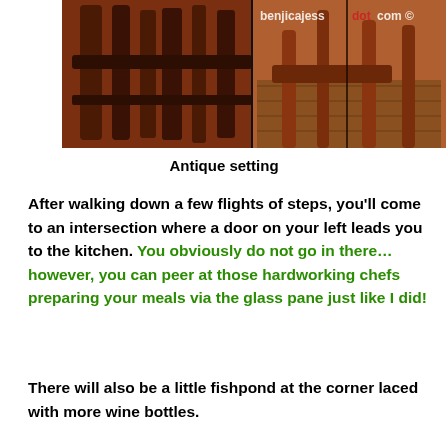[Figure (photo): Photo of antique wooden chairs and furniture on a hardwood floor, with a watermark 'benjicajess dot com' in the top right corner.]
Antique setting
After walking down a few flights of steps, you'll come to an intersection where a door on your left leads you to the kitchen. You obviously do not go in there… however, you can peer at those hardworking chefs preparing your meals via the glass pane just like I did!
There will also be a little fishpond at the corner laced with more wine bottles.